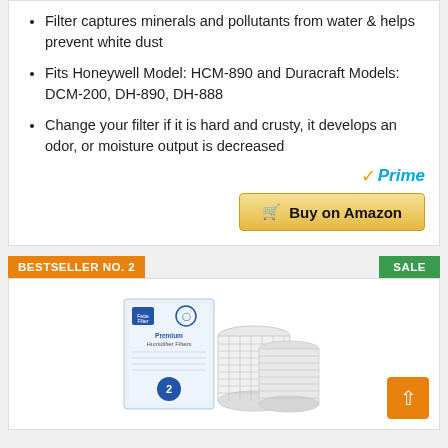Filter captures minerals and pollutants from water & helps prevent white dust
Fits Honeywell Model: HCM-890 and Duracraft Models: DCM-200, DH-890, DH-888
Change your filter if it is hard and crusty, it develops an odor, or moisture output is decreased
Prime
Buy on Amazon
BESTSELLER NO. 2
SALE
[Figure (photo): Product photo of Fette Filter Premium Humidifier Filters box and two white cylindrical filter units]